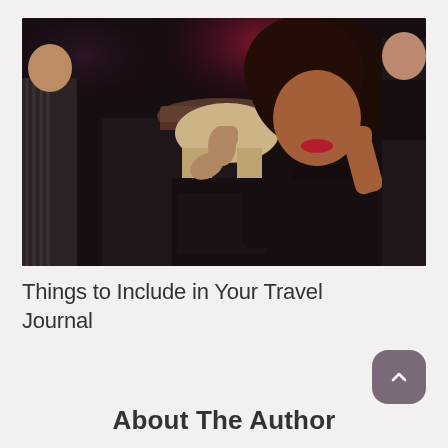[Figure (photo): People dancing in a nightclub. A woman with curly hair wearing a black long-sleeve top dances with fists raised, smiling with red lipstick. Next to her a woman in a cap and black outfit dances. Other people visible in the dimly lit background.]
Things to Include in Your Travel Journal
About The Author